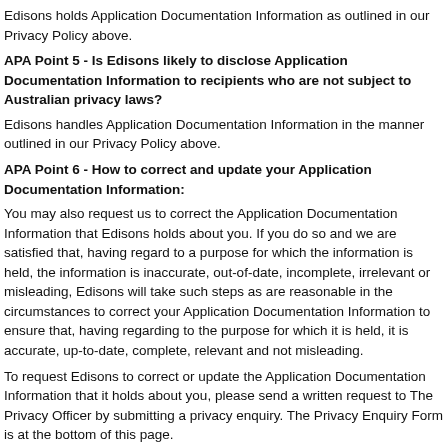Edisons holds Application Documentation Information as outlined in our Privacy Policy above.
APA Point 5 - Is Edisons likely to disclose Application Documentation Information to recipients who are not subject to Australian privacy laws?
Edisons handles Application Documentation Information in the manner outlined in our Privacy Policy above.
APA Point 6 - How to correct and update your Application Documentation Information:
You may also request us to correct the Application Documentation Information that Edisons holds about you. If you do so and we are satisfied that, having regard to a purpose for which the information is held, the information is inaccurate, out-of-date, incomplete, irrelevant or misleading, Edisons will take such steps as are reasonable in the circumstances to correct your Application Documentation Information to ensure that, having regarding to the purpose for which it is held, it is accurate, up-to-date, complete, relevant and not misleading.
To request Edisons to correct or update the Application Documentation Information that it holds about you, please send a written request to The Privacy Officer by submitting a privacy enquiry. The Privacy Enquiry Form is at the bottom of this page.
APA Point 7 - How to make a complaint: